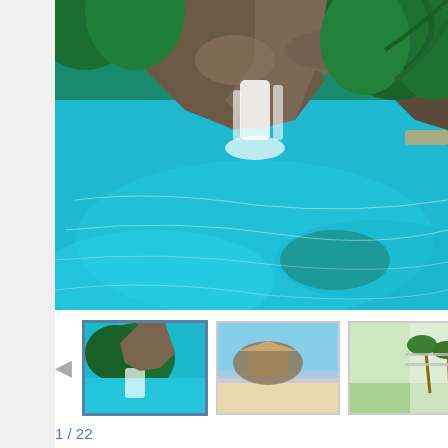[Figure (photo): Main large photo of a luxury pool with waterfall feature surrounded by tropical rocks and lush green palm trees and vegetation. Bright turquoise blue pool water with waterfall cascading from stone grotto.]
[Figure (photo): Thumbnail 1: Aerial/wide view of the property pool area with tropical greenery]
[Figure (photo): Thumbnail 2: Beach or coastal view of the property]
[Figure (photo): Thumbnail 3: Golf course or green lawn area with palm trees]
1 / 22
Oahu Estate 20310 offers over one acre of privacy gated beachfront with 11000
REQUEST RESER